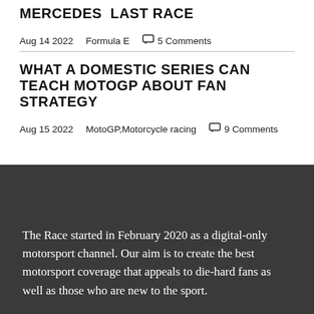MERCEDES LAST RACE
Aug 14 2022    Formula E    5 Comments
WHAT A DOMESTIC SERIES CAN TEACH MOTOGP ABOUT FAN STRATEGY
Aug 15 2022    MotoGP,Motorcycle racing    9 Comments
The Race started in February 2020 as a digital-only motorsport channel. Our aim is to create the best motorsport coverage that appeals to die-hard fans as well as those who are new to the sport.